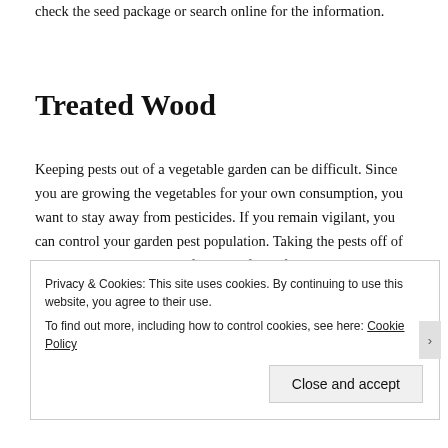check the seed package or search online for the information.
Treated Wood
Keeping pests out of a vegetable garden can be difficult. Since you are growing the vegetables for your own consumption, you want to stay away from pesticides. If you remain vigilant, you can control your garden pest population. Taking the pests off of the plants by hand is one of the best fixes if you are able to catch the infestation in its early stages.
Privacy & Cookies: This site uses cookies. By continuing to use this website, you agree to their use.
To find out more, including how to control cookies, see here: Cookie Policy

Close and accept